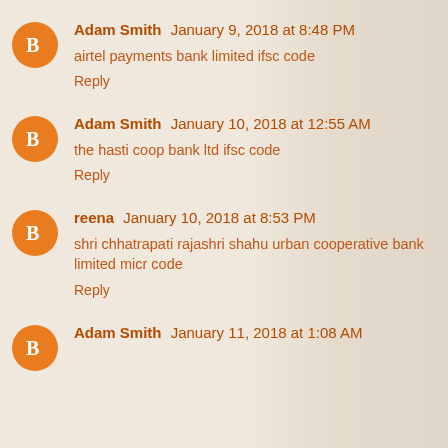Adam Smith  January 9, 2018 at 8:48 PM
airtel payments bank limited ifsc code
Reply
Adam Smith  January 10, 2018 at 12:55 AM
the hasti coop bank ltd ifsc code
Reply
reena  January 10, 2018 at 8:53 PM
shri chhatrapati rajashri shahu urban cooperative bank limited micr code
Reply
Adam Smith  January 11, 2018 at 1:08 AM